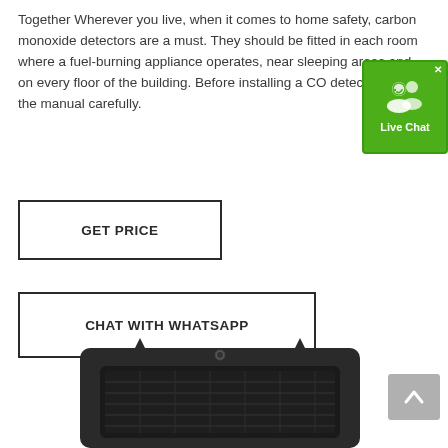Together Wherever you live, when it comes to home safety, carbon monoxide detectors are a must. They should be fitted in each room where a fuel-burning appliance operates, near sleeping areas and on every floor of the building. Before installing a CO detector, read the manual carefully.
[Figure (infographic): Live Chat widget — green button with two person icons and a checkmark, labeled 'Live Chat', with an X close button in the top right corner]
[Figure (other): Button with border labeled GET PRICE in bold text]
[Figure (other): Button with border labeled CHAT WITH WHATSAPP in bold text]
[Figure (photo): Partial product photo of a dark/black rectangular solar-powered outdoor light device, top portion visible, showing mounting points and a sensor lens]
[Figure (other): Gray scroll-to-top button with upward chevron arrow]